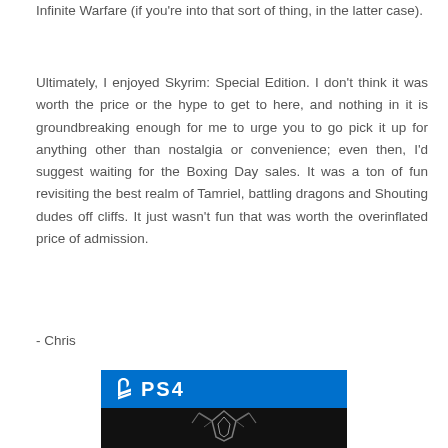Infinite Warfare (if you're into that sort of thing, in the latter case).
Ultimately, I enjoyed Skyrim: Special Edition. I don't think it was worth the price or the hype to get to here, and nothing in it is groundbreaking enough for me to urge you to go pick it up for anything other than nostalgia or convenience; even then, I'd suggest waiting for the Boxing Day sales. It was a ton of fun revisiting the best realm of Tamriel, battling dragons and Shouting dudes off cliffs. It just wasn't fun that was worth the overinflated price of admission.
- Chris
[Figure (photo): PS4 game box art for Skyrim Special Edition showing the PS4 blue banner logo at top and dark game box art with dragon symbol below]